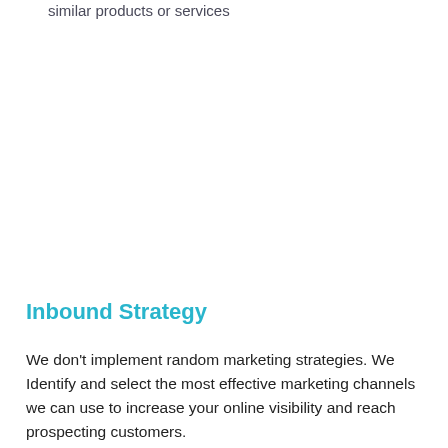similar products or services
Inbound Strategy
We don't implement random marketing strategies. We Identify and select the most effective marketing channels we can use to increase your online visibility and reach prospecting customers.